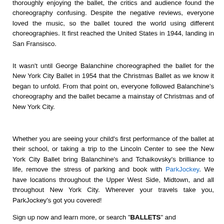thoroughly enjoying the ballet, the critics and audience found the choreography confusing. Despite the negative reviews, everyone loved the music, so the ballet toured the world using different choreographies. It first reached the United States in 1944, landing in San Fransisco.
It wasn't until George Balanchine choreographed the ballet for the New York City Ballet in 1954 that the Christmas Ballet as we know it began to unfold. From that point on, everyone followed Balanchine's choreography and the ballet became a mainstay of Christmas and of New York City.
Whether you are seeing your child's first performance of the ballet at their school, or taking a trip to the Lincoln Center to see the New York City Ballet bring Balanchine's and Tchaikovsky's brilliance to life, remove the stress of parking and book with ParkJockey. We have locations throughout the Upper West Side, Midtown, and all throughout New York City. Wherever your travels take you, ParkJockey's got you covered!
Sign up now and learn more, or search "BALLETS" and...